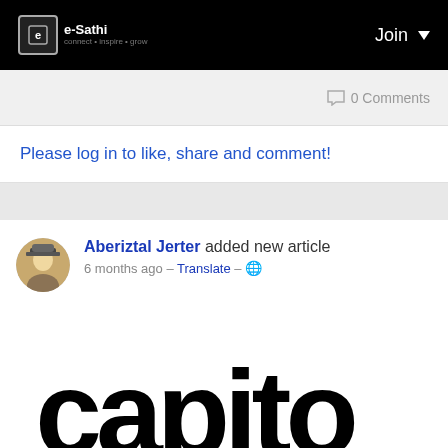e-Sathi | Join
0 Comments
Please log in to like, share and comment!
Aberiztal Jerter added new article
6 months ago – Translate – 🌐
[Figure (logo): Partial word 'capito' in large bold black text, article preview image]